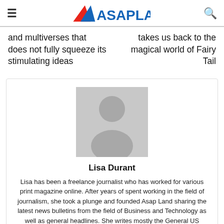ASAPLAND
and multiverses that does not fully squeeze its stimulating ideas
takes us back to the magical world of Fairy Tail
[Figure (photo): Author profile placeholder avatar - grey silhouette of a person on grey background]
Lisa Durant
Lisa has been a freelance journalist who has worked for various print magazine online. After years of spent working in the field of journalism, she took a plunge and founded Asap Land sharing the latest news bulletins from the field of Business and Technology as well as general headlines. She writes mostly the General US Headlines and Business News.